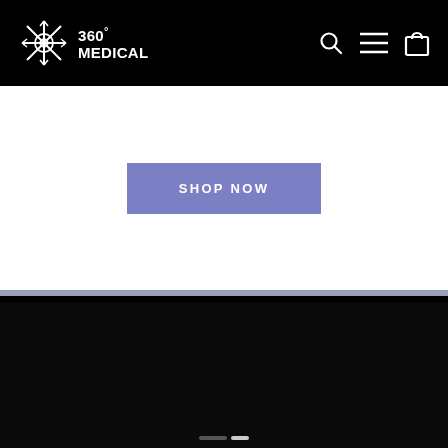360° MEDICAL
[Figure (screenshot): 360° Medical website screenshot showing black navigation header with snowflake/caduceus logo, SHOP NOW button on white hero section, and dark lower area with slider dots]
SHOP NOW